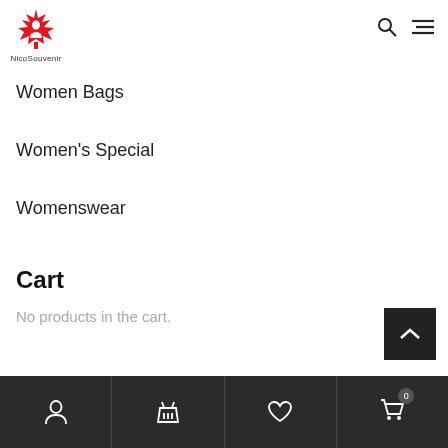NicoSouvenir logo with search and menu icons
Women Bags
Women's Special
Womenswear
Cart
No products in the cart.
Bottom navigation bar with user, cart, wishlist, and shopping cart icons